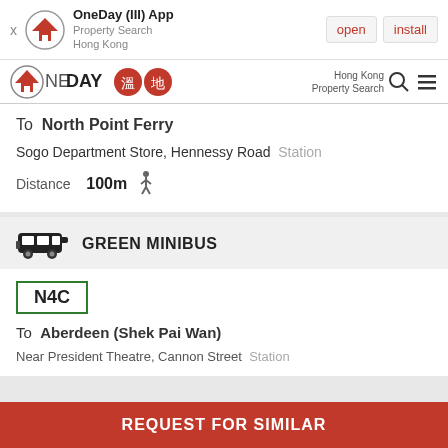[Figure (screenshot): App install banner for OneDay (III) App - Property Search Hong Kong with open and install buttons]
[Figure (logo): OneDay Property Search Hong Kong logo with Chinese characters and search/menu icons]
To  North Point Ferry
Sogo Department Store, Hennessy Road  Station
Distance  100m  [walking icon]
GREEN MINIBUS
N4C
To  Aberdeen (Shek Pai Wan)
Near President Theatre, Cannon Street  Station
REQUEST FOR SIMILAR